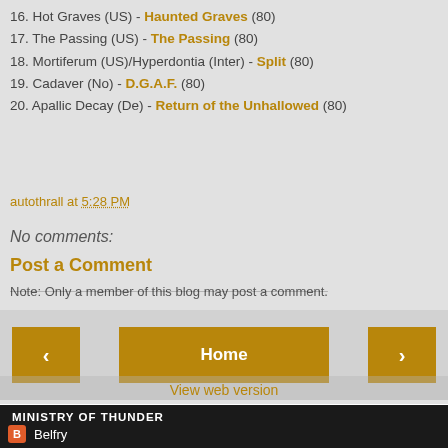16. Hot Graves (US) - Haunted Graves (80)
17. The Passing (US) - The Passing (80)
18. Mortiferum (US)/Hyperdontia (Inter) - Split (80)
19. Cadaver (No) - D.G.A.F. (80)
20. Apallic Decay (De) - Return of the Unhallowed (80)
autothrall at 5:28 PM
No comments:
Post a Comment
Note: Only a member of this blog may post a comment.
Home
View web version
MINISTRY OF THUNDER
Belfry